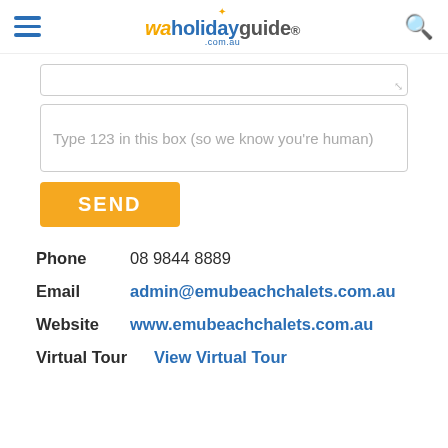waholidayguide.com.au
[Figure (screenshot): Input box (partially visible, top of textarea)]
[Figure (screenshot): Input box with placeholder text: Type 123 in this box (so we know you're human)]
[Figure (screenshot): Orange SEND button]
Phone   08 9844 8889
Email   admin@emubeachchalets.com.au
Website   www.emubeachchalets.com.au
Virtual Tour   View Virtual Tour